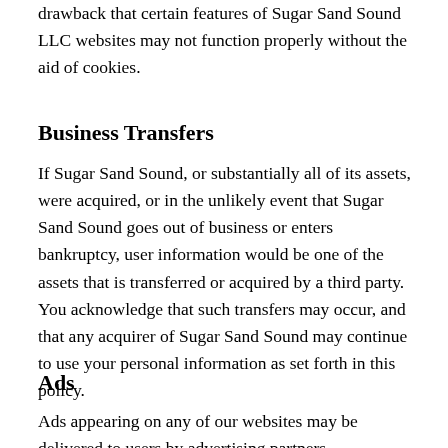drawback that certain features of Sugar Sand Sound LLC websites may not function properly without the aid of cookies.
Business Transfers
If Sugar Sand Sound, or substantially all of its assets, were acquired, or in the unlikely event that Sugar Sand Sound goes out of business or enters bankruptcy, user information would be one of the assets that is transferred or acquired by a third party. You acknowledge that such transfers may occur, and that any acquirer of Sugar Sand Sound may continue to use your personal information as set forth in this policy.
Ads
Ads appearing on any of our websites may be delivered to users by advertising partners,